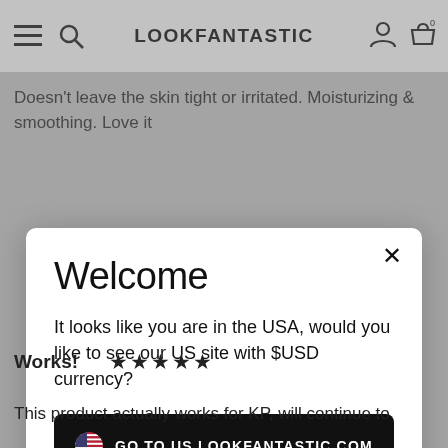LOOKFANTASTIC
Doesn't leave the skin tight or irritated. Moisturizing & smoothing. Love it
Welcome
It looks like you are in the USA, would you like to see our US site with $USD currency?
GO TO US.LOOKFANTASTIC.COM
No Thanks, Stay on LOOKFANTASTIC.COM
Works! ★★★★★
This product actually works for KP, will continue to